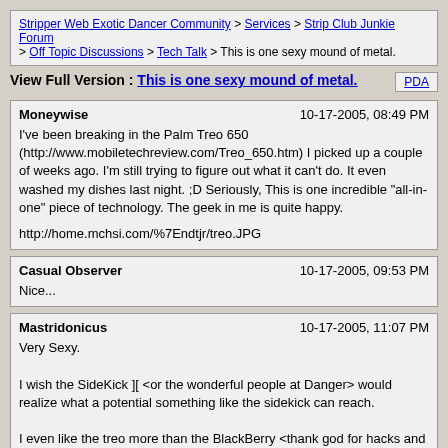Stripper Web Exotic Dancer Community > Services > Strip Club Junkie Forum > Off Topic Discussions > Tech Talk > This is one sexy mound of metal.
View Full Version : This is one sexy mound of metal.
Moneywise    10-17-2005, 08:49 PM
I've been breaking in the Palm Treo 650 (http://www.mobiletechreview.com/Treo_650.htm) I picked up a couple of weeks ago. I'm still trying to figure out what it can't do. It even washed my dishes last night. ;D Seriously, This is one incredible "all-in-one" piece of technology. The geek in me is quite happy.

http://home.mchsi.com/%7Endtjr/treo.JPG
Casual Observer    10-17-2005, 09:53 PM
Nice...
Mastridonicus    10-17-2005, 11:07 PM
Very Sexy.

I wish the SideKick ][ <or the wonderful people at Danger> would realize what a potential something like the sidekick can reach.

I even like the treo more than the BlackBerry <thank god for hacks and a couple trusty dvds of software for palmOS